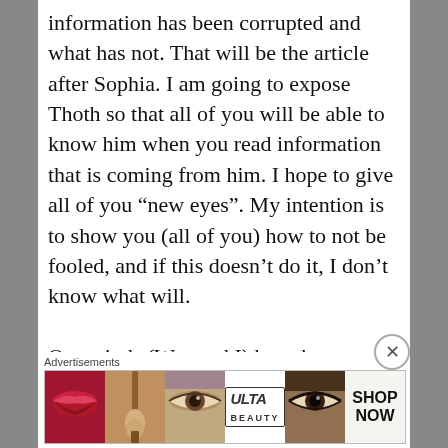information has been corrupted and what has not. That will be the article after Sophia. I am going to expose Thoth so that all of you will be able to know him when you read information that is coming from him. I hope to give all of you “new eyes”. My intention is to show you (all of you) how to not be fooled, and if this doesn’t do it, I don’t know what will.

Our minds (Wes and I) have been totally blown out by what we are currently working on, and we hope (in all goodness) that all of you will
[Figure (other): Advertisement banner for ULTA beauty featuring close-up images of lips with red lipstick, a makeup brush, an eye with eyeshadow, the ULTA logo, an eye with dark eye makeup, and a 'SHOP NOW' call to action button.]